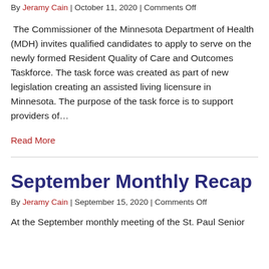By Jeramy Cain | October 11, 2020 | Comments Off
The Commissioner of the Minnesota Department of Health (MDH) invites qualified candidates to apply to serve on the newly formed Resident Quality of Care and Outcomes Taskforce. The task force was created as part of new legislation creating an assisted living licensure in Minnesota. The purpose of the task force is to support providers of…
Read More
September Monthly Recap
By Jeramy Cain | September 15, 2020 | Comments Off
At the September monthly meeting of the St. Paul Senior